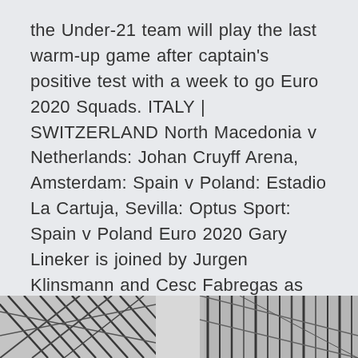the Under-21 team will play the last warm-up game after captain's positive test with a week to go Euro 2020 Squads. ITALY | SWITZERLAND North Macedonia v Netherlands: Johan Cruyff Arena, Amsterdam: Spain v Poland: Estadio La Cartuja, Sevilla: Optus Sport: Spain v Poland Euro 2020 Gary Lineker is joined by Jurgen Klinsmann and Cesc Fabregas as three-time champions Spain face off against Poland at the Estadio La Cartuja in Seville. Euro 2020: News, Groups, Fixtures, Dates, Tickets, Odds And Everything You Need To Know. With countries being able to name 26 players, squads are always going to look stacked with talent. Poland were the only team never to trail at any point of a game at Euro 2016 (normal + extra time).
[Figure (photo): Bottom strip showing partial black and white abstract or sports-related image]